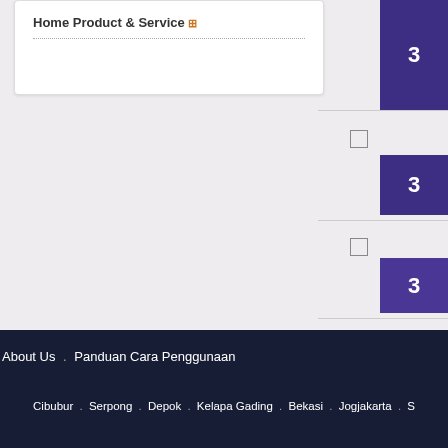[Figure (screenshot): Partial view of a white card UI element with title 'Home Product & Service' and a dotted separator line, on a light gray background. Right side shows dark purple/navy navigation blocks with checkboxes.]
About Us . Panduan Cara Penggunaan
Cibubur . Serpong . Depok . Kelapa Gading . Bekasi . Jogjakarta . S